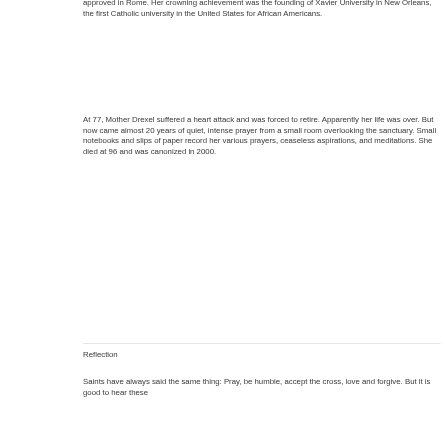approved in Rome. Her crowning achievement was the founding of Xavier University in New Orleans, the first Catholic university in the United States for African Americans.
At 77, Mother Drexel suffered a heart attack and was forced to retire. Apparently her life was over. But now came almost 20 years of quiet, intense prayer from a small room overlooking the sanctuary. Small notebooks and slips of paper record her various prayers, ceaseless aspirations, and meditations. She died at 96 and was canonized in 2000.
Reflection
Saints have always said the same thing: Pray, be humble, accept the cross, love and forgive. But it is good to hear these